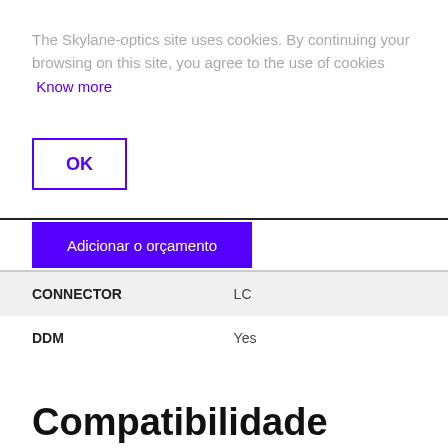The Skylane-optics site uses cookies. By continuing your browsing on this site, you agree to the use of cookies  Know more
OK
Adicionar o orçamento
| CONNECTOR | LC |
| DDM | Yes |
Compatibilidade